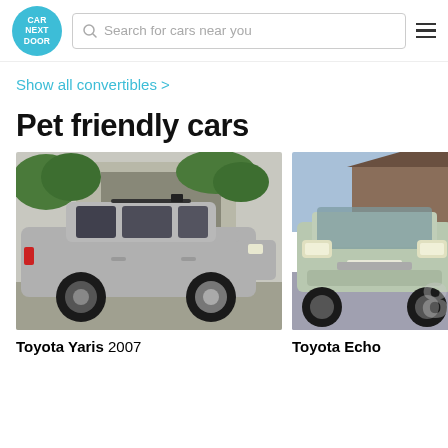[Figure (logo): Car Next Door circular teal logo]
Search for cars near you
Show all convertibles >
Pet friendly cars
[Figure (photo): Silver Toyota Yaris 2007 hatchback parked in driveway]
Toyota Yaris 2007
[Figure (photo): Light green Toyota Echo front view on street]
Toyota Echo